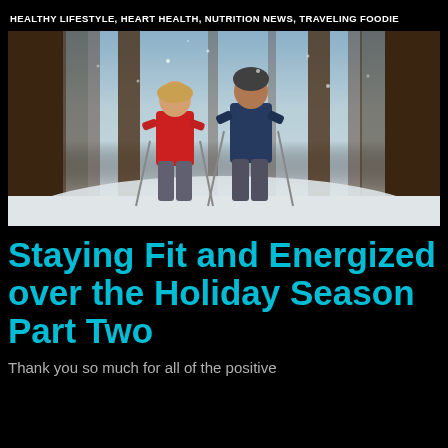HEALTHY LIFESTYLE, HEART HEALTH, NUTRITION NEWS, TRAVELING FOODIE
[Figure (photo): Two people cross-country skiing or hiking with poles through a snowy forest with tall trees and falling snow]
Staying Fit and Energized over the Holiday Season Part Two
Thank you so much for all of the positive